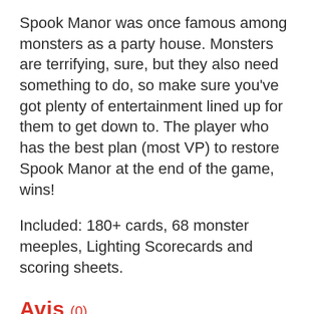Spook Manor was once famous among monsters as a party house. Monsters are terrifying, sure, but they also need something to do, so make sure you've got plenty of entertainment lined up for them to get down to. The player who has the best plan (most VP) to restore Spook Manor at the end of the game, wins!
Included: 180+ cards, 68 monster meeples, Lighting Scorecards and scoring sheets.
Avis (0)